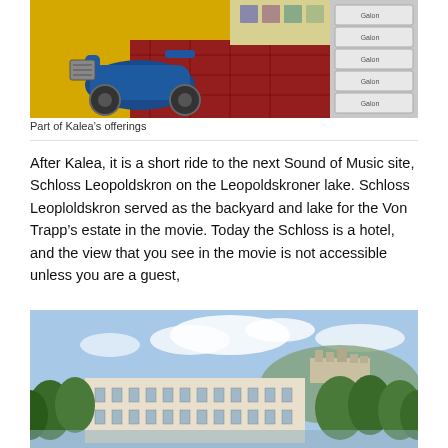[Figure (photo): Photo of a blue vintage scooter/motorcycle on a colorful display with shoe boxes in background — part of Kalea's offerings]
Part of Kalea’s offerings
After Kalea, it is a short ride to the next Sound of Music site, Schloss Leopoldskron on the Leopoldskroner lake. Schloss Leoploldskron served as the backyard and lake for the Von Trapp’s estate in the movie. Today the Schloss is a hotel, and the view that you see in the movie is not accessible unless you are a guest,
[Figure (photo): Photo of Schloss Leopoldskron, a grand white/cream baroque palace surrounded by trees with a fortress visible on a hill in the background under a blue sky with clouds]